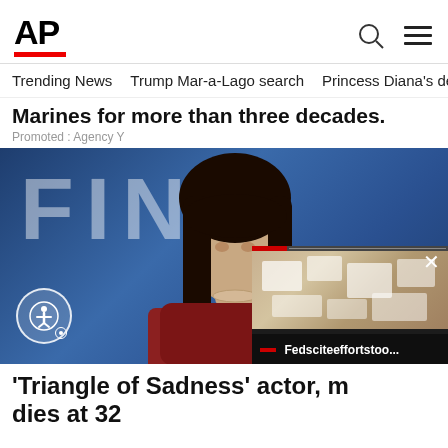AP
Trending News   Trump Mar-a-Lago search   Princess Diana's dea
Marines for more than three decades.
Promoted : Agency Y
[Figure (photo): Woman with dark hair and bangs wearing a red blazer in front of a blue background with large white letters 'FIN'. An accessibility button is visible at bottom left. An overlay video player shows 'Fedsciteeffortstoo...' at bottom right.]
'Triangle of Sadness' actor, m dies at 32